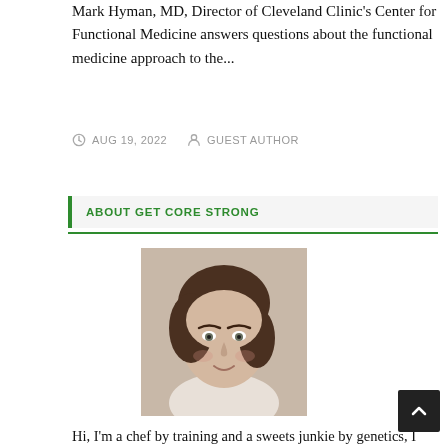Mark Hyman, MD, Director of Cleveland Clinic's Center for Functional Medicine answers questions about the functional medicine approach to the...
AUG 19, 2022   GUEST AUTHOR
ABOUT GET CORE STRONG
[Figure (photo): Portrait photo of a woman with short brown hair, smiling slightly, wearing a white top.]
Hi, I'm a chef by training and a sweets junkie by genetics, I think. I am working on my craft and my self each day. I hope to share what I know and learn about food and how to best fuel our bodies...